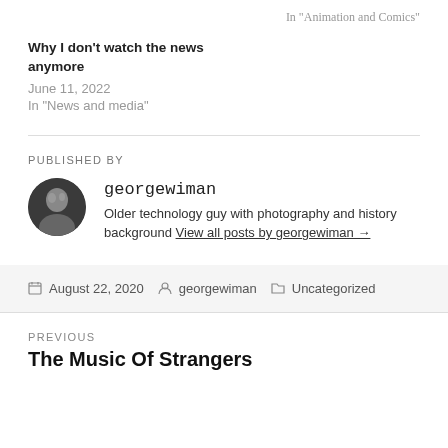In "Animation and Comics"
Why I don't watch the news anymore
June 11, 2022
In "News and media"
PUBLISHED BY
georgewiman
Older technology guy with photography and history background View all posts by georgewiman →
August 22, 2020  georgewiman  Uncategorized
PREVIOUS
The Music Of Strangers